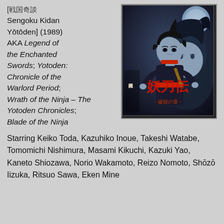[戦国奇談 Sengoku Kidan Yōtōden] (1989) AKA Legend of the Enchanted Swords; Yotoden: Chronicle of the Warlord Period; Wrath of the Ninja – The Yotoden Chronicles; Blade of the Ninja
[Figure (illustration): Anime cover art for Sengoku Kidan Yōtōden showing anime characters and Japanese text 戦国奇譚 妖刀伝 破獄の章]
Starring Keiko Toda, Kazuhiko Inoue, Takeshi Watabe, Tomomichi Nishimura, Masami Kikuchi, Kazuki Yao, Kaneto Shiozawa, Norio Wakamoto, Reizo Nomoto, Shōzō Iizuka, Ritsuo Sawa, Eken Mine